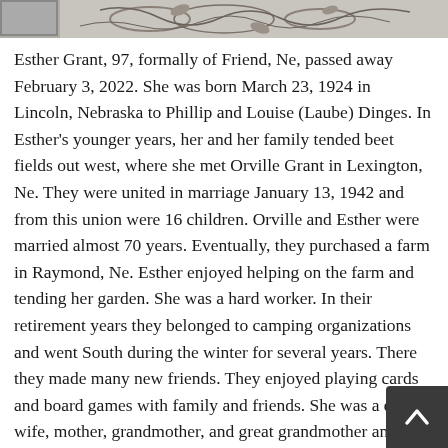[Figure (illustration): Decorative floral/botanical pattern header image in grayscale]
Esther Grant, 97, formally of Friend, Ne, passed away February 3, 2022.  She was born March 23, 1924 in Lincoln, Nebraska to Phillip and Louise (Laube) Dinges.  In Esther's younger years, her and her family tended beet fields out west, where she met Orville Grant in Lexington, Ne.  They were united in marriage January 13, 1942 and from this union were 16 children.  Orville and Esther were married almost 70 years.  Eventually, they purchased a farm in Raymond, Ne.  Esther enjoyed helping on the farm and tending her garden.  She was a hard worker.  In their retirement years they belonged to camping organizations and went South during the winter for several years.  There they made many new friends.  They enjoyed playing cards and board games with family and friends.  She was a devout wife, mother, grandmother, and great grandmother and loved her family dearly.  She is survived by her sons, Ronald (Cinda)  Grant, Kenneth (Darlene) Grant, Marvin (Patty) Grant, Warren (Beth) Grant, Kevin (Donna) Grant, Myron (Deb) Grant, Brian Grant, David Grant, and Aaron Grant; daughters, Doris Shriver, Doreen (Randy) Burcham, Cynthia (Daniel) Stutzman, Merna